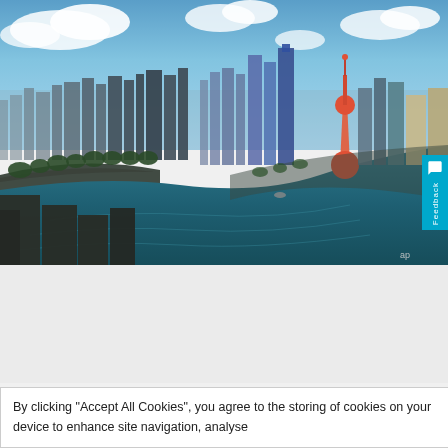[Figure (photo): Aerial panoramic view of Shanghai, China, showing the Huangpu River winding through the city with the Oriental Pearl Tower visible on the right side of the skyline. Blue sky with clouds above.]
ap
By clicking “Accept All Cookies”, you agree to the storing of cookies on your device to enhance site navigation, analyse